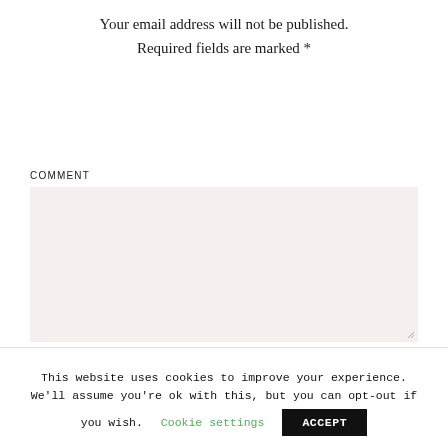Your email address will not be published. Required fields are marked *
COMMENT
NAME *
This website uses cookies to improve your experience. We'll assume you're ok with this, but you can opt-out if you wish. Cookie settings ACCEPT